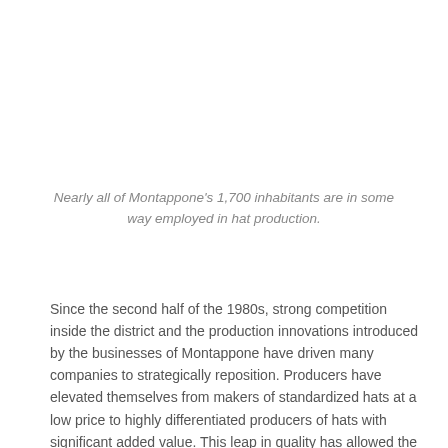Nearly all of Montappone's 1,700 inhabitants are in some way employed in hat production.
Since the second half of the 1980s, strong competition inside the district and the production innovations introduced by the businesses of Montappone have driven many companies to strategically reposition. Producers have elevated themselves from makers of standardized hats at a low price to highly differentiated producers of hats with significant added value. This leap in quality has allowed the hat district of Montappone to become an extremely dynamic area which has obtained recognition throughout the world.